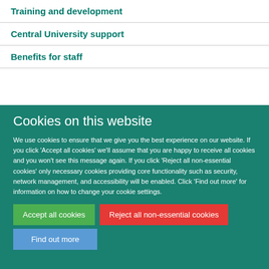Training and development
Central University support
Benefits for staff
Cookies on this website
We use cookies to ensure that we give you the best experience on our website. If you click 'Accept all cookies' we'll assume that you are happy to receive all cookies and you won't see this message again. If you click 'Reject all non-essential cookies' only necessary cookies providing core functionality such as security, network management, and accessibility will be enabled. Click 'Find out more' for information on how to change your cookie settings.
Accept all cookies
Reject all non-essential cookies
Find out more